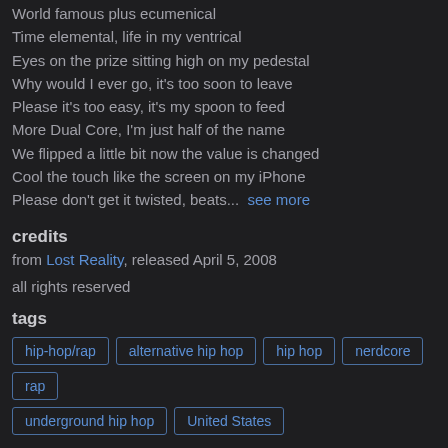World famous plus ecumenical
Time elemental, life in my ventrical
Eyes on the prize sitting high on my pedestal
Why would I ever go, it's too soon to leave
Please it's too easy, it's my spoon to feed
More Dual Core, I'm just half of the name
We flipped a little bit now the value is changed
Cool the touch like the screen on my iPhone
Please don't get it twisted, beats... see more
credits
from Lost Reality, released April 5, 2008
all rights reserved
tags
hip-hop/rap
alternative hip hop
hip hop
nerdcore
rap
underground hip hop
United States
about